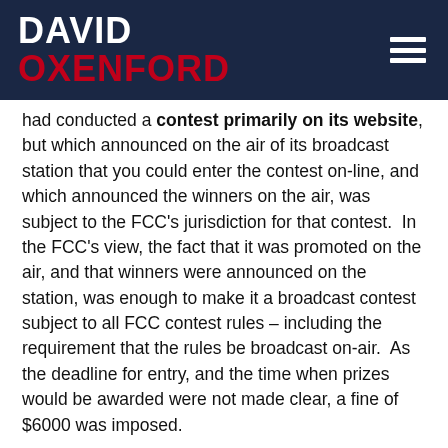DAVID OXENFORD
had conducted a contest primarily on its website, but which announced on the air of its broadcast station that you could enter the contest on-line, and which announced the winners on the air, was subject to the FCC's jurisdiction for that contest.  In the FCC's view, the fact that it was promoted on the air, and that winners were announced on the station, was enough to make it a broadcast contest subject to all FCC contest rules – including the requirement that the rules be broadcast on-air.  As the deadline for entry, and the time when prizes would be awarded were not made clear, a fine of $6000 was imposed.
Taken together, these cases demonstrate the